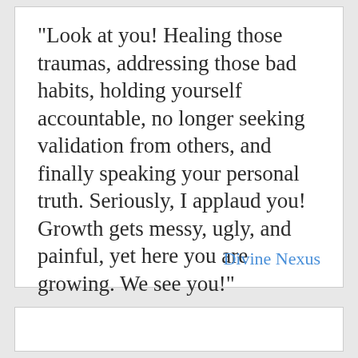“Look at you! Healing those traumas, addressing those bad habits, holding yourself accountable, no longer seeking validation from others, and finally speaking your personal truth. Seriously, I applaud you! Growth gets messy, ugly, and painful, yet here you are growing. We see you!”
Divine Nexus